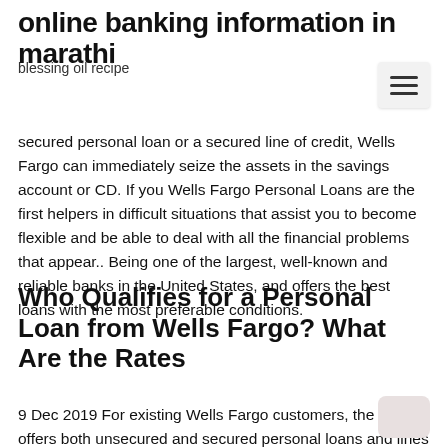online banking information in marathi
blessing oil recipe
secured personal loan or a secured line of credit, Wells Fargo can immediately seize the assets in the savings account or CD. If you Wells Fargo Personal Loans are the first helpers in difficult situations that assist you to become flexible and be able to deal with all the financial problems that appear.. Being one of the largest, well-known and reliable banks in the United States, and offers the best loans with the most preferable conditions.
Who Qualifies for a Personal Loan from Wells Fargo? What Are the Rates
9 Dec 2019 For existing Wells Fargo customers, the bank offers both unsecured and secured personal loans and lines of